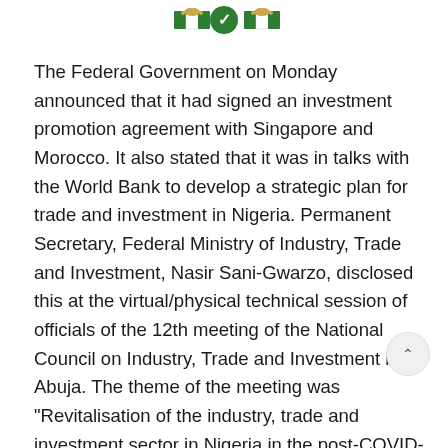[Figure (logo): Nigerian flag / emblem logo icons at the top center of the page]
The Federal Government on Monday announced that it had signed an investment promotion agreement with Singapore and Morocco. It also stated that it was in talks with the World Bank to develop a strategic plan for trade and investment in Nigeria. Permanent Secretary, Federal Ministry of Industry, Trade and Investment, Nasir Sani-Gwarzo, disclosed this at the virtual/physical technical session of officials of the 12th meeting of the National Council on Industry, Trade and Investment in Abuja. The theme of the meeting was “Revitalisation of the industry, trade and investment sector in Nigeria in the post-COVID-19 pandemic era.” Sani-Gwarzo said the FMITI was reviewing many...